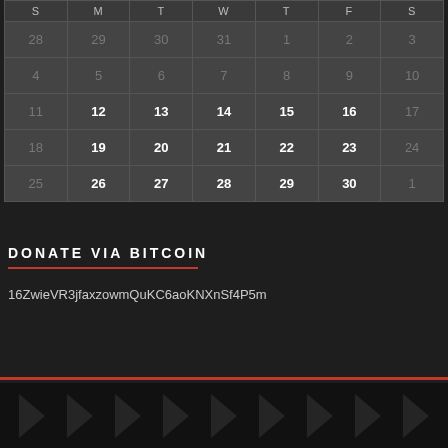| S | M | T | W | T | F | S |
| --- | --- | --- | --- | --- | --- | --- |
| 28 | 29 | 30 | 31 | 1 | 2 | 3 |
| 4 | 5 | 6 | 7 | 8 | 9 | 10 |
| 11 | 12 | 13 | 14 | 15 | 16 | 17 |
| 18 | 19 | 20 | 21 | 22 | 23 | 24 |
| 25 | 26 | 27 | 28 | 29 | 30 | 1 |
DONATE VIA BITCOIN
16ZwieVR3jfaxzowmQuKC6aoKNXnSf4P5m
[Figure (illustration): Repeating rightward-pointing arrow chevron pattern in dark gray on black background]